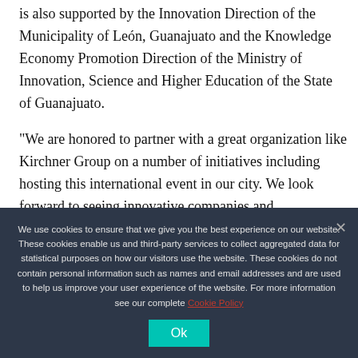is also supported by the Innovation Direction of the Municipality of León, Guanajuato and the Knowledge Economy Promotion Direction of the Ministry of Innovation, Science and Higher Education of the State of Guanajuato.
“We are honored to partner with a great organization like Kirchner Group on a number of initiatives including hosting this international event in our city. We look forward to seeing innovative companies and entrepreneurs finding unique solutions to the global food security issues,” said Omar Silva
We use cookies to ensure that we give you the best experience on our website. These cookies enable us and third-party services to collect aggregated data for statistical purposes on how our visitors use the website. These cookies do not contain personal information such as names and email addresses and are used to help us improve your user experience of the website. For more information see our complete Cookie Policy